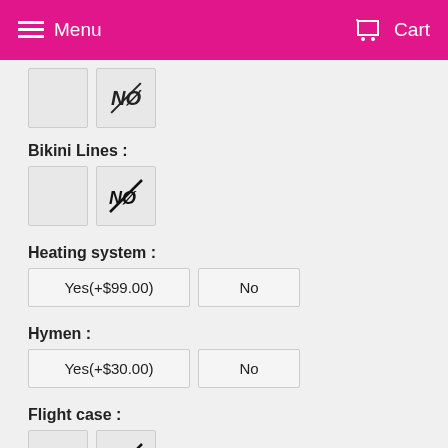Menu  Cart
Bikini Lines :
Heating system :
Yes(+$99.00)  No
Hymen :
Yes(+$30.00)  No
Flight case :
Sound :
Yes(+$110.00)  No